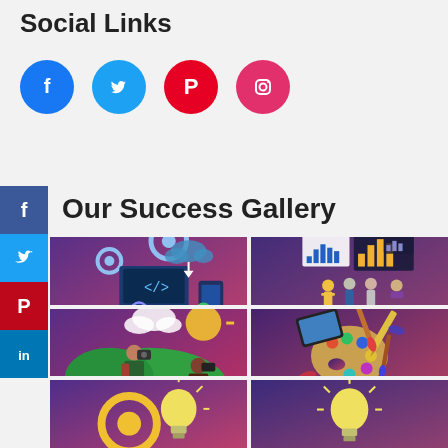Social Links
[Figure (illustration): Four social media icon circles: Facebook (blue), Twitter (light blue), Pinterest (red), Instagram (pink/magenta)]
Our Success Gallery
[Figure (illustration): Sidebar with Facebook, Twitter, Pinterest, LinkedIn icons]
[Figure (illustration): Gallery image 1: Technology/coding illustration with gears, laptop, code brackets on purple-pink gradient]
[Figure (illustration): Gallery image 2: Business analytics illustration with people presenting charts on purple gradient]
[Figure (illustration): Gallery image 3: Photography illustration with two people taking photos outdoors on purple-pink gradient]
[Figure (illustration): Gallery image 4: Art/design illustration with paint palette, brushes, tablet on purple-pink gradient]
[Figure (illustration): Gallery image 5 (partial): Illustration with gear and light bulb on purple-pink gradient]
[Figure (illustration): Gallery image 6 (partial): Illustration with light bulb on purple-pink gradient]